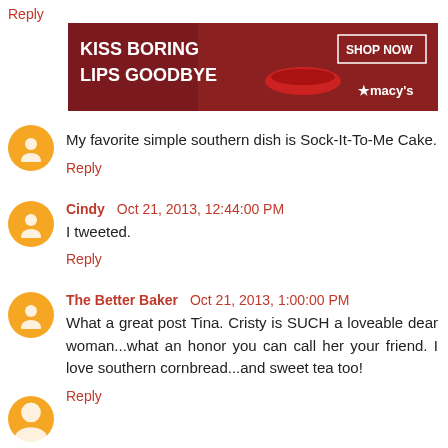Reply
[Figure (photo): Macy's advertisement banner: KISS BORING LIPS GOODBYE, SHOP NOW, macy's logo with star]
My favorite simple southern dish is Sock-It-To-Me Cake.
Reply
Cindy  Oct 21, 2013, 12:44:00 PM
I tweeted.
Reply
The Better Baker  Oct 21, 2013, 1:00:00 PM
What a great post Tina. Cristy is SUCH a loveable dear woman...what an honor you can call her your friend. I love southern cornbread...and sweet tea too!
Reply